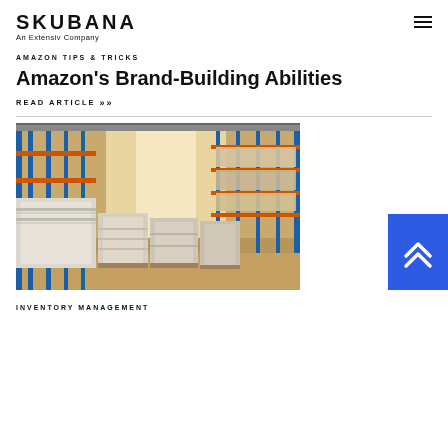SKUBANA — An Extensiv Company
AMAZON TIPS & TRICKS
Amazon's Brand-Building Abilities
READ ARTICLE >>>
[Figure (photo): Warehouse interior with blue and orange metal shelving racks, stacked pallets of wrapped goods in the foreground, and a long aisle stretching into the background under bright lighting.]
INVENTORY MANAGEMENT